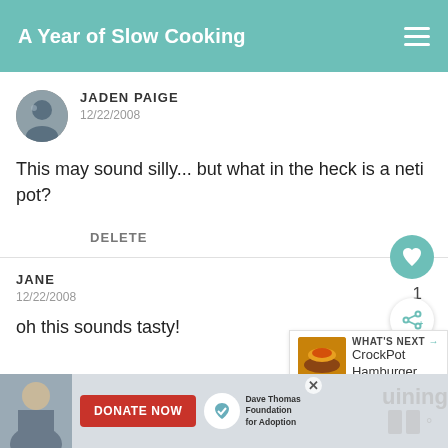A Year of Slow Cooking
JADEN PAIGE
12/22/2008
This may sound silly... but what in the heck is a neti pot?
DELETE
1
JANE
12/22/2008
oh this sounds tasty!
WHAT'S NEXT → CrockPot Hamburger...
[Figure (screenshot): Ad banner with boy photo, Donate Now button, Dave Thomas Foundation for Adoption logo]